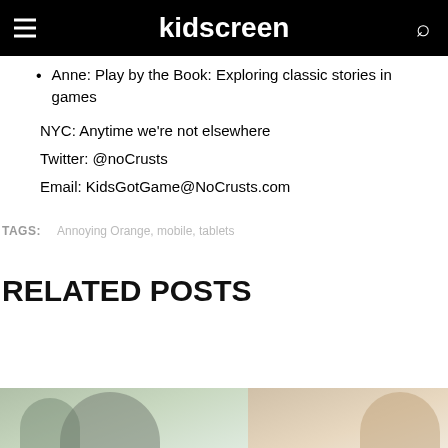kidscreen
Anne: Play by the Book: Exploring classic stories in games
NYC: Anytime we're not elsewhere
Twitter: @noCrusts
Email: KidsGotGame@NoCrusts.com
TAGS:   Annoying Orange, mobile, tablets
RELATED POSTS
[Figure (photo): Two photos side by side at the bottom of the page — left shows a person outdoors, right shows a person with light hair]